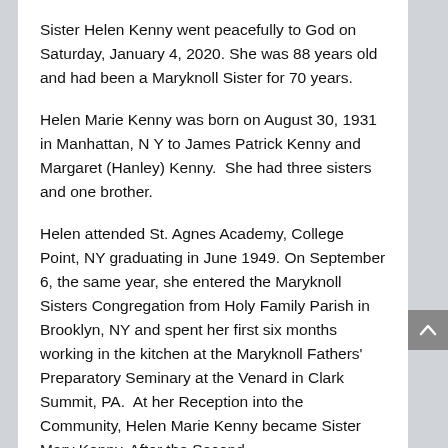Sister Helen Kenny went peacefully to God on Saturday, January 4, 2020. She was 88 years old and had been a Maryknoll Sister for 70 years.
Helen Marie Kenny was born on August 30, 1931 in Manhattan, N Y to James Patrick Kenny and Margaret (Hanley) Kenny.  She had three sisters and one brother.
Helen attended St. Agnes Academy, College Point, NY graduating in June 1949. On September 6, the same year, she entered the Maryknoll Sisters Congregation from Holy Family Parish in Brooklyn, NY and spent her first six months working in the kitchen at the Maryknoll Fathers' Preparatory Seminary at the Venard in Clark Summit, PA.  At her Reception into the Community, Helen Marie Kenny became Sister Mary Kenny. After the Second